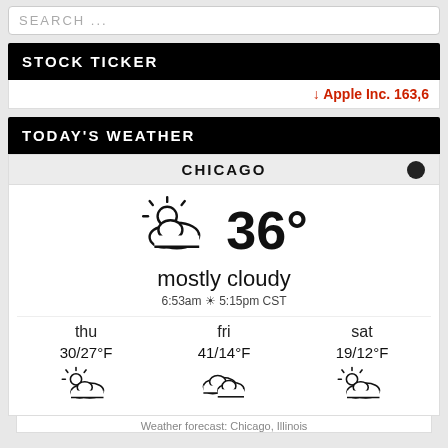SEARCH ...
STOCK TICKER
↓ Apple Inc. 163,6
TODAY'S WEATHER
CHICAGO
[Figure (infographic): Weather widget showing mostly cloudy sky with sun icon and 36 degree temperature, sunrise 6:53am sunset 5:15pm CST, forecast for thu 30/27°F, fri 41/14°F, sat 19/12°F]
Weather forecast: Chicago, Illinois